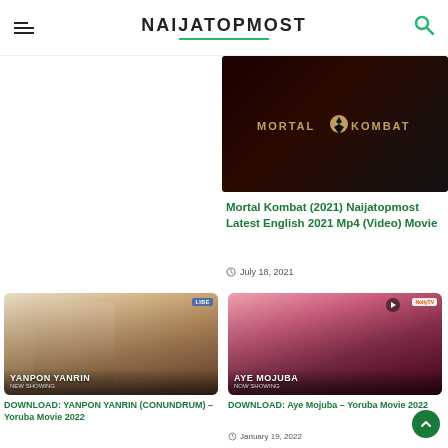NAIJATOPMOST
[Figure (photo): Mortal Kombat movie title card with dark background and golden logo text]
Mortal Kombat (2021) Naijatopmost Latest English 2021 Mp4 (Video) Movie
July 18, 2021
[Figure (photo): YANPON YANRIN – Yoruba movie thumbnail showing a woman, labeled NEW SHOWING]
DOWNLOAD: YANPON YANRIN (CONUNDRUM) – Yoruba Movie 2022
[Figure (photo): AYE MOJUBA – Yoruba movie thumbnail showing an elderly man in traditional attire, labeled NOW SHOWING]
DOWNLOAD: Aye Mojuba – Yoruba Movie 2022
January 19, 2022